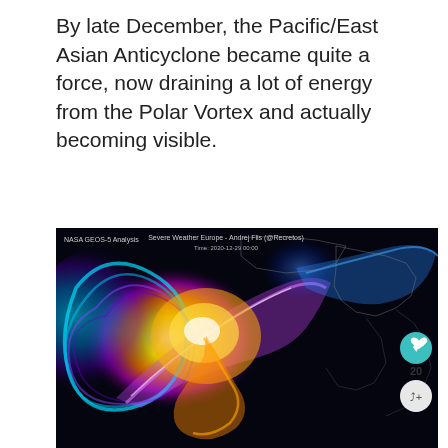By late December, the Pacific/East Asian Anticyclone became quite a force, now draining a lot of energy from the Polar Vortex and actually becoming visible.
[Figure (map): NASA GEOS-5 Analysis visualization of the Pacific/East Asian Anticyclone and Polar Vortex. Shows colorful wind energy patterns on a dark background with white geographic outlines. Attribution: Severe Weather Europe - Andrej Flis (@Recretos), Time: 2020-12-29 00:00. Swirling patterns of blue, purple, white, orange and yellow colors showing atmospheric circulation.]